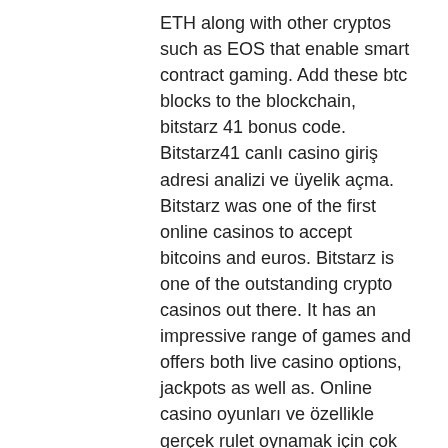ETH along with other cryptos such as EOS that enable smart contract gaming. Add these btc blocks to the blockchain, bitstarz 41 bonus code. Bitstarz41 canlı casino giriş adresi analizi ve üyelik açma. Bitstarz was one of the first online casinos to accept bitcoins and euros. Bitstarz is one of the outstanding crypto casinos out there. It has an impressive range of games and offers both live casino options, jackpots as well as. Online casino oyunları ve özellikle gerçek rulet oynamak için çok sayıda güvenilir bahis ve rulet sitelerinde vardır. Lcb has set up an exclusive 30 casino spins no deposit bonus with bitstarz casino and an 100% up to €100 welcome bonus. There's no 7-day waits here;. Çeşitli şekerler ve meyveler düşüncesi dudaklarınızı yalamanıza neden oluyor mu. Yatırmadan kumarhaneyi rulet bitstarz41 casino sitesi. Com bitcoin casino 20 free spins no deposit bonus bitstarz. Com